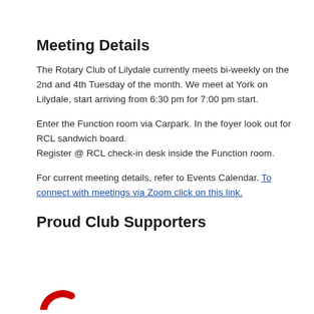Meeting Details
The Rotary Club of Lilydale currently meets bi-weekly on the 2nd and 4th Tuesday of the month. We meet at York on Lilydale, start arriving from 6:30 pm for 7:00 pm start.
Enter the Function room via Carpark. In the foyer look out for RCL sandwich board.
Register @ RCL check-in desk inside the Function room.
For current meeting details, refer to Events Calendar. To connect with meetings via Zoom click on this link.
Proud Club Supporters
[Figure (logo): Partial logo visible at bottom of page (red arc/circle)]